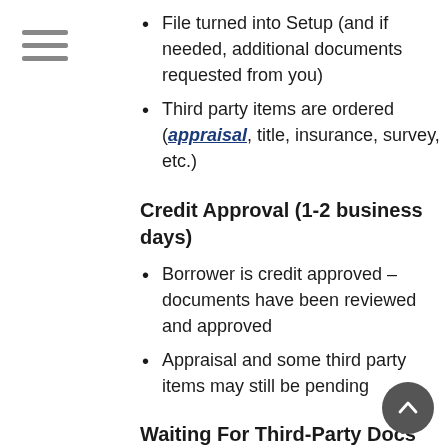File turned into Setup (and if needed, additional documents requested from you)
Third party items are ordered (appraisal, title, insurance, survey, etc.)
Credit Approval (1-2 business days)
Borrower is credit approved – documents have been reviewed and approved
Appraisal and some third party items may still be pending
Waiting For Third-Party Docs (TBD)
This is the great unknown which…